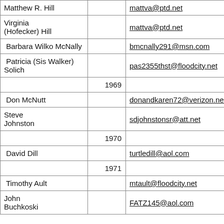| Name | Year | Email |
| --- | --- | --- |
| Matthew R. Hill |  | mattva@ptd.net |
| Virginia (Hofecker) Hill |  | mattva@ptd.net |
| Barbara Wilko McNally |  | bmcnally291@msn.com |
| Patricia (Sis Walker) Solich |  | pas2355thst@floodcity.net |
|  | 1969 |  |
| Don McNutt |  | donandkaren72@verizon.net |
| Steve Johnston |  | sdjohnstonsr@att.net |
|  | 1970 |  |
| David Dill |  | turtledill@aol.com |
|  | 1971 |  |
| Timothy Ault |  | mtault@floodcity.net |
| John Buchkoski |  | FATZ145@aol.com |